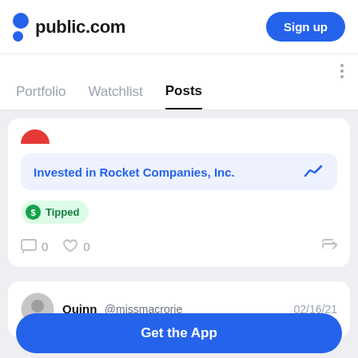public.com
Portfolio   Watchlist   Posts
Invested in Rocket Companies, Inc.
Tipped
0   0
Quinn @missmacrorie   02/16/21
Get the App